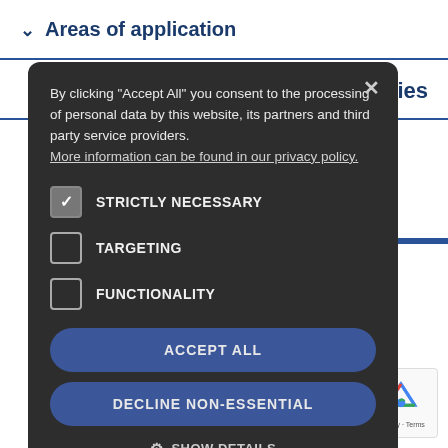Areas of application
tries
[Figure (screenshot): Cookie consent modal dialog with dark background showing privacy consent options. Contains text about accepting all cookies, checkboxes for Strictly Necessary (checked), Targeting (unchecked), Functionality (unchecked), and buttons for Accept All, Decline Non-Essential, and Show Details.]
By clicking "Accept All" you consent to the processing of personal data by this website, its partners and third party service providers. More information can be found in our privacy policy.
STRICTLY NECESSARY
TARGETING
FUNCTIONALITY
ACCEPT ALL
DECLINE NON-ESSENTIAL
SHOW DETAILS